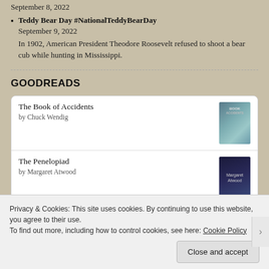September 8, 2022
Teddy Bear Day #NationalTeddyBearDay
September 9, 2022
In 1902, American President Theodore Roosevelt refused to shoot a bear cub while hunting in Mississippi.
GOODREADS
[Figure (other): Goodreads widget showing two books: 'The Book of Accidents by Chuck Wendig' and 'The Penelopiad by Margaret Atwood' with book cover thumbnails]
Privacy & Cookies: This site uses cookies. By continuing to use this website, you agree to their use.
To find out more, including how to control cookies, see here: Cookie Policy
Close and accept